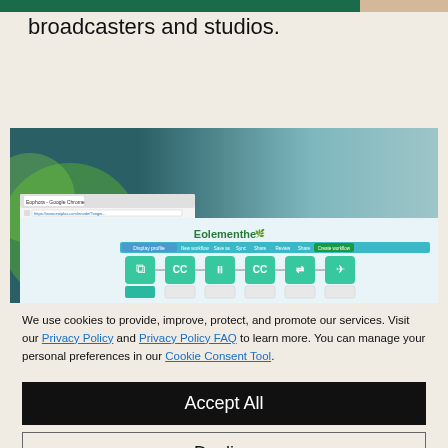broadcasters and studios.
[Figure (screenshot): Screenshot of Eolementhe web-based media workflow tool showing a pipeline of processing steps (ingest, subtitle CC, split, CC, reorder, deliver) in a browser window on a green/teal bokeh background.]
We use cookies to provide, improve, protect, and promote our services. Visit our Privacy Policy and Privacy Policy FAQ to learn more. You can manage your personal preferences in our Cookie Consent Tool.
Accept All
Decline